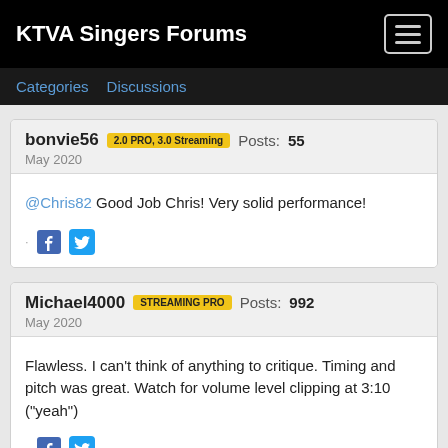KTVA Singers Forums
Categories   Discussions
bonvie56  2.0 PRO, 3.0 Streaming  Posts: 55
May 2020
@Chris82 Good Job Chris! Very solid performance!
Michael4000  STREAMING PRO  Posts: 992
May 2020
Flawless. I can't think of anything to critique. Timing and pitch was great. Watch for volume level clipping at 3:10 ("yeah")